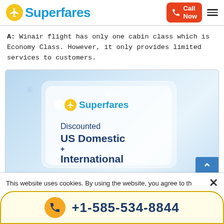[Figure (logo): Superfares logo with yellow circle airplane icon and blue text]
A: Winair flight has only one cabin class which is Economy Class. However, it only provides limited services to customers.
[Figure (illustration): Superfares advertisement banner showing discounted US Domestic + International flights on a light blue background]
This website uses cookies. By using the website, you agree to th...
+1-585-534-8844